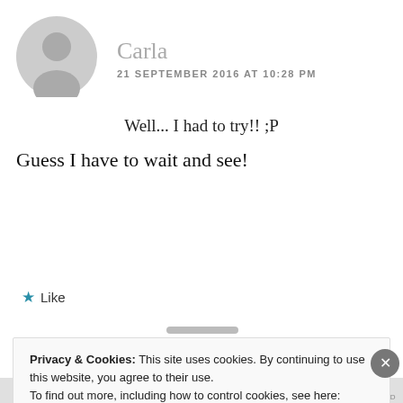[Figure (illustration): Gray circular avatar/placeholder user icon]
Carla
21 SEPTEMBER 2016 AT 10:28 PM
Well... I had to try!! ;P
Guess I have to wait and see!
Like
Privacy & Cookies: This site uses cookies. By continuing to use this website, you agree to their use.
To find out more, including how to control cookies, see here: Cookie Policy
Close and accept